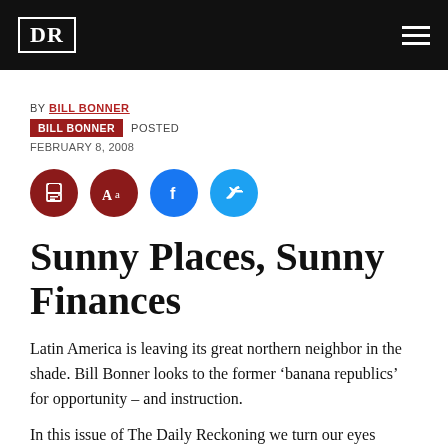DR
BY BILL BONNER
BILL BONNER POSTED
FEBRUARY 8, 2008
[Figure (other): Social sharing and utility icon buttons: print (dark red circle), font size (dark red circle with Aa), Facebook (blue circle), Twitter (light blue circle)]
Sunny Places, Sunny Finances
Latin America is leaving its great northern neighbor in the shade. Bill Bonner looks to the former ‘banana republics’ for opportunity – and instruction.
In this issue of The Daily Reckoning we turn our eyes